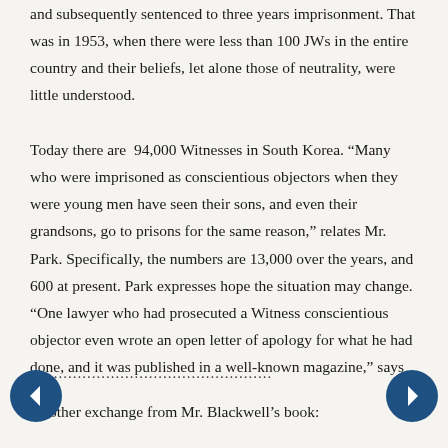and subsequently sentenced to three years imprisonment. That was in 1953, when there were less than 100 JWs in the entire country and their beliefs, let alone those of neutrality, were little understood.
Today there are 94,000 Witnesses in South Korea. “Many who were imprisoned as conscientious objectors when they were young men have seen their sons, and even their grandsons, go to prisons for the same reason,” relates Mr. Park. Specifically, the numbers are 13,000 over the years, and 600 at present. Park expresses hope the situation may change. “One lawyer who had prosecuted a Witness conscientious objector even wrote an open letter of apology for what he had done, and it was published in a well-known magazine,” says he.
...................................................
Another exchange from Mr. Blackwell’s book: